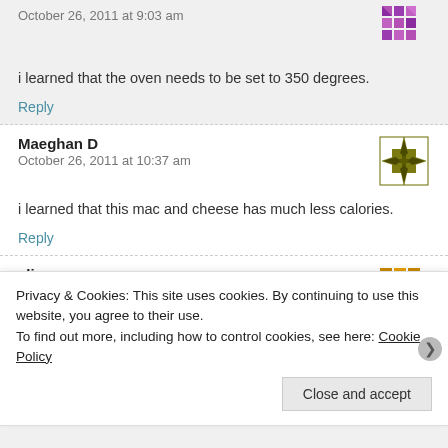October 26, 2011 at 9:03 am
i learned that the oven needs to be set to 350 degrees.
Reply
Maeghan D
October 26, 2011 at 10:37 am
i learned that this mac and cheese has much less calories.
Reply
alina m
October 26, 2011 at 10:48 am
Privacy & Cookies: This site uses cookies. By continuing to use this website, you agree to their use.
To find out more, including how to control cookies, see here: Cookie Policy
Close and accept